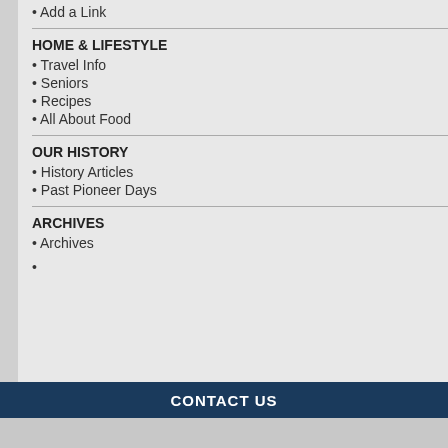• Add a Link
HOME & LIFESTYLE
• Travel Info
• Seniors
• Recipes
• All About Food
OUR HISTORY
• History Articles
• Past Pioneer Days
ARCHIVES
• Archives
5/27/2022 - Beginner Tai Chi...
5/27/2022 - Boogie Chair
5/27/2022 - Lemon Bay Woo...
5/27/2022 - The Wind in the...
5/28/2022 - Beach Yoga
5/28/2022 - Sea Turtles Ever...
5/28/2022 - ZUMBA Fitness...
5/28/2022 - Fiction Writers G...
5/28/2022 - Ice Cream Socia...
5/28/2022 - Adventures with...
5/28/2022 - Arts Advocates M... Isabel Anchin Bec...
5/28/2022 - The Wind in the...
5/29/2022 - Sunday Worship... GCUMC
[Figure (other): Click here button banner in dark teal/navy blue with italic white script text]
CONTACT US